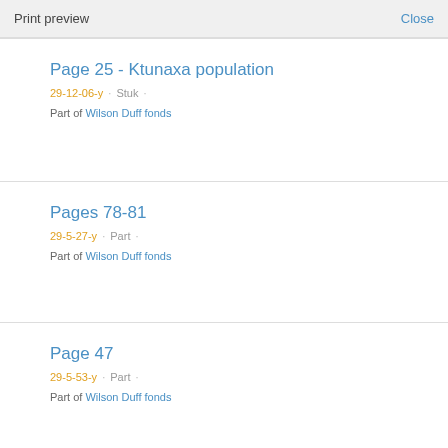Print preview   Close
Page 25 - Ktunaxa population
29-12-06-y · Stuk ·
Part of Wilson Duff fonds
Pages 78-81
29-5-27-y · Part ·
Part of Wilson Duff fonds
Page 47
29-5-53-y · Part ·
Part of Wilson Duff fonds